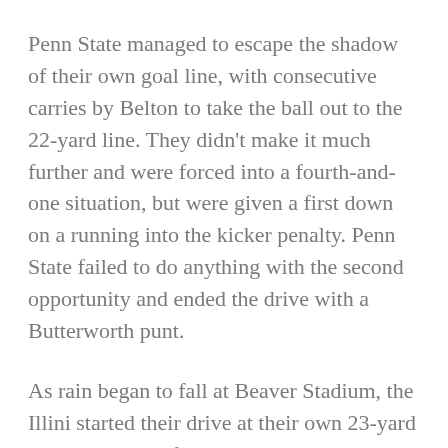Penn State managed to escape the shadow of their own goal line, with consecutive carries by Belton to take the ball out to the 22-yard line. They didn't make it much further and were forced into a fourth-and-one situation, but were given a first down on a running into the kicker penalty. Penn State failed to do anything with the second opportunity and ended the drive with a Butterworth punt.
As rain began to fall at Beaver Stadium, the Illini started their drive at their own 23-yard line. A personal foul helped Illinois move the ball into Nittany Lion territory and Scheelhaase continued to frustrate Penn State with his legs. After missing LaCosse twice in the end zone, Illinois had a third and ten at the 22-yard line. Scheelhaase connected with LaCosse to go to the 10-yard line. The